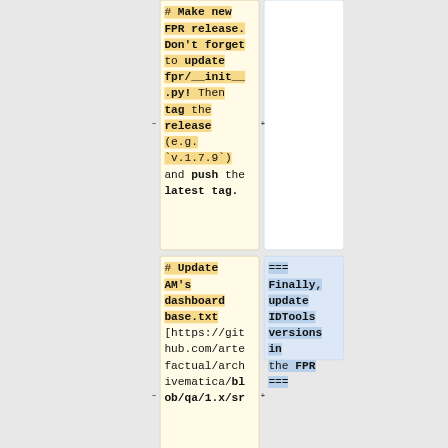# Make new FPR release. Don't forget to update fpr/__init__.py! Then tag the release (e.g. `v.1.7.9`) and push the latest tag.
# Update AM's dashboard base.txt [https://github.com/artefactual/archivematica/blob/qa/1.x/sr
=== Finally, update IDTools versions in the FPR ===